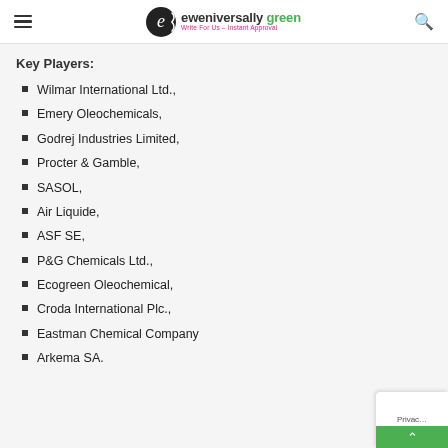eweniversally green - Write For Us - Instant Approval
Key Players:
Wilmar International Ltd.,
Emery Oleochemicals,
Godrej Industries Limited,
Procter & Gamble,
SASOL,
Air Liquide,
ASF SE,
P&G Chemicals Ltd.,
Ecogreen Oleochemical,
Croda International Plc.,
Eastman Chemical Company
Arkema SA.